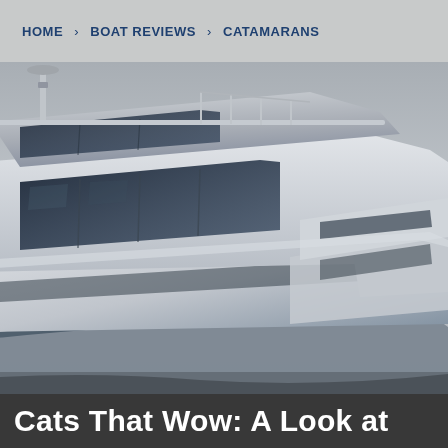HOME > BOAT REVIEWS > CATAMARANS
[Figure (photo): Close-up photo of a modern luxury catamaran yacht, showing the upper deck, bridge, large windows, and sleek white hull. Another vessel is partially visible in the background right. Overcast sky in background.]
Cats That Wow: A Look at